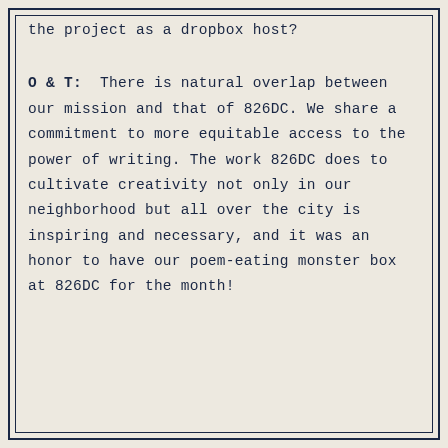the project as a dropbox host?
O & T: There is natural overlap between our mission and that of 826DC. We share a commitment to more equitable access to the power of writing. The work 826DC does to cultivate creativity not only in our neighborhood but all over the city is inspiring and necessary, and it was an honor to have our poem-eating monster box at 826DC for the month!